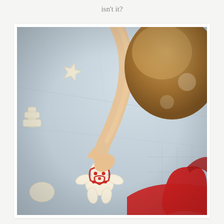isn't it?
[Figure (photo): A young toddler with light brown hair, wearing a red top, decorating a gingerbread man cookie with red icing on a marble or light stone surface. Other unbaked cookie shapes (star, tree) are visible in the background. The photo is presented as a white-bordered polaroid-style print on a light gray background.]